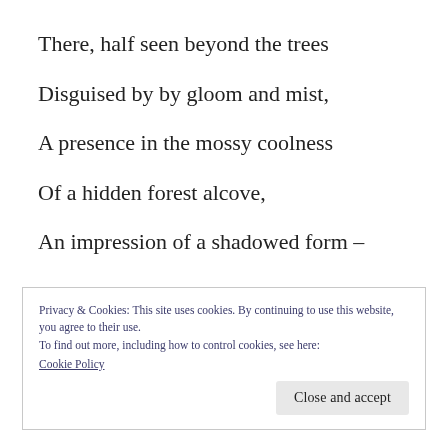There, half seen beyond the trees
Disguised by by gloom and mist,
A presence in the mossy coolness
Of a hidden forest alcove,
An impression of a shadowed form –
Privacy & Cookies: This site uses cookies. By continuing to use this website, you agree to their use.
To find out more, including how to control cookies, see here:
Cookie Policy
Close and accept